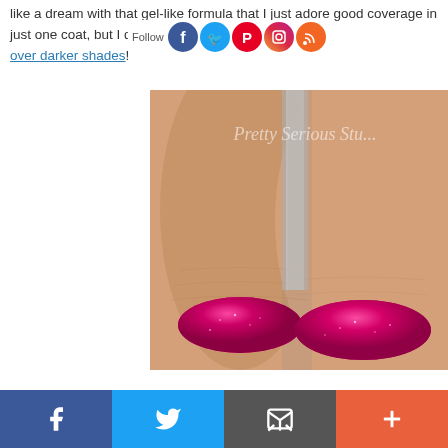like a dream with that gel-like formula that I just adore good coverage in just one coat, but I did two out of habit over darker shades!
[Figure (photo): Close-up photo of two fingers with bright pink/magenta glitter nail polish, watermarked with 'Pretty Serious Stu...' text]
Facebook share | Twitter share | Email share | More